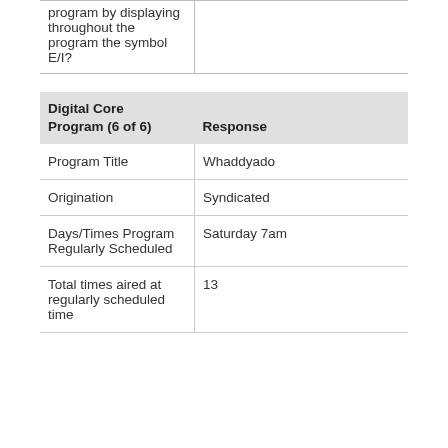|  |  |
| --- | --- |
| program by displaying throughout the program the symbol E/I? |  |
| Digital Core Program (6 of 6) | Response |
| --- | --- |
| Program Title | Whaddyado |
| Origination | Syndicated |
| Days/Times Program Regularly Scheduled | Saturday 7am |
| Total times aired at regularly scheduled time | 13 |